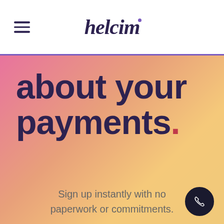helcim
about your payments.
Sign up instantly with no paperwork or commitments.
Get started for free